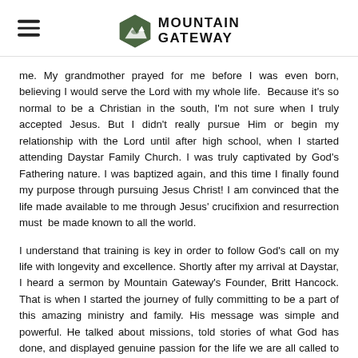[Figure (logo): Mountain Gateway logo with hamburger menu icon on the left. Logo consists of a hexagonal green mountain icon and bold text reading MOUNTAIN GATEWAY.]
me. My grandmother prayed for me before I was even born, believing I would serve the Lord with my whole life.  Because it's so normal to be a Christian in the south, I'm not sure when I truly accepted Jesus. But I didn't really pursue Him or begin my relationship with the Lord until after high school, when I started attending Daystar Family Church. I was truly captivated by God's Fathering nature. I was baptized again, and this time I finally found my purpose through pursuing Jesus Christ! I am convinced that the life made available to me through Jesus' crucifixion and resurrection must  be made known to all the world.
I understand that training is key in order to follow God's call on my life with longevity and excellence. Shortly after my arrival at Daystar, I heard a sermon by Mountain Gateway's Founder, Britt Hancock. That is when I started the journey of fully committing to be a part of this amazing ministry and family. His message was simple and powerful. He talked about missions, told stories of what God has done, and displayed genuine passion for the life we are all called to live with Jesus Christ as Lord. I have no doubt that the Great Commission Academy will develop in me all the characteristics necessary to